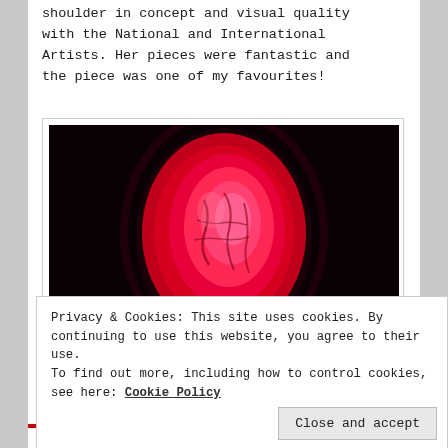shoulder in concept and visual quality with the National and International Artists. Her pieces were fantastic and the piece was one of my favourites!
[Figure (photo): A glowing red organic oval shape (resembling a heart or organ) illuminated against a dark black background, artistic photograph.]
Privacy & Cookies: This site uses cookies. By continuing to use this website, you agree to their use.
To find out more, including how to control cookies, see here: Cookie Policy
Close and accept